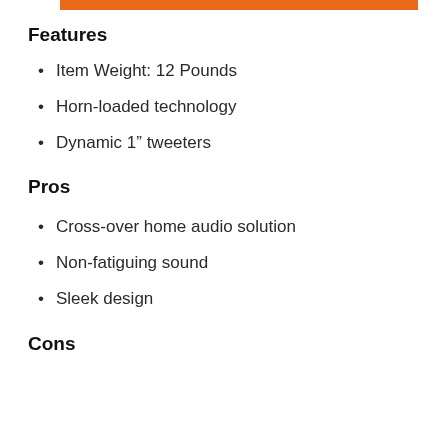Features
Item Weight: 12 Pounds
Horn-loaded technology
Dynamic 1” tweeters
Pros
Cross-over home audio solution
Non-fatiguing sound
Sleek design
Cons